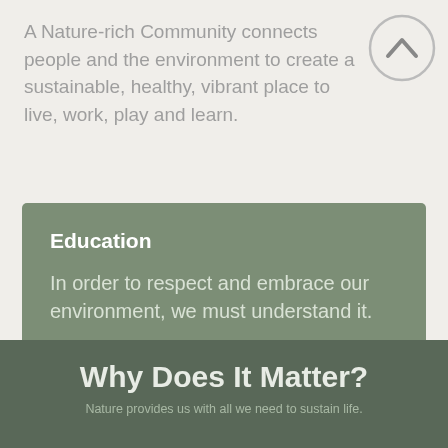A Nature-rich Community connects people and the environment to create a sustainable, healthy, vibrant place to live, work, play and learn.
[Figure (illustration): Circular navigation button with upward chevron arrow, grey outline style]
Education
In order to respect and embrace our environment, we must understand it.
[Figure (infographic): Carousel navigation dots — one white (active) and three grey dots]
[Figure (illustration): Illustrated cluster of wildflowers, stems and butterflies on a soft green oval base]
Why Does It Matter?
Nature provides us with all we need to sustain life.